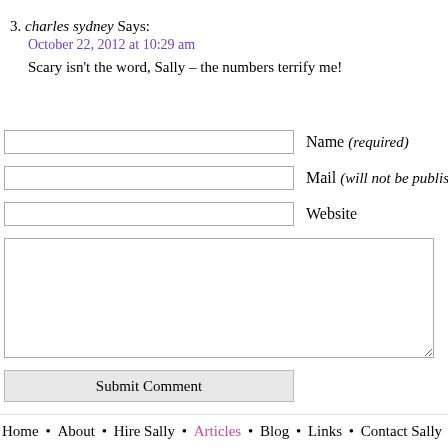3. charles sydney Says:
October 22, 2012 at 10:29 am
Scary isn't the word, Sally – the numbers terrify me!
Name (required)
Mail (will not be published) (required)
Website
Submit Comment
Home • About • Hire Sally • Articles • Blog • Links • Contact Sally